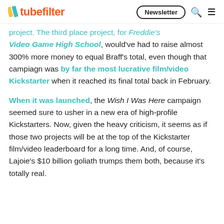tubefilter | Newsletter
project. The third place project, for Freddie's Video Game High School, would've had to raise almost 300% more money to equal Braff's total, even though that campaign was by far the most lucrative film/video Kickstarter when it reached its final total back in February.
When it was launched, the Wish I Was Here campaign seemed sure to usher in a new era of high-profile Kickstarters. Now, given the heavy criticism, it seems as if those two projects will be at the top of the Kickstarter film/video leaderboard for a long time. And, of course, Lajoie's $10 billion goliath trumps them both, because it's totally real.